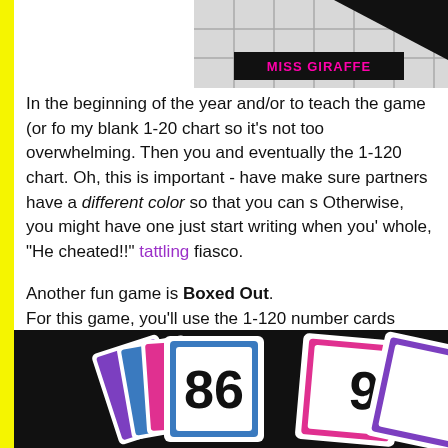[Figure (photo): Miss Giraffe logo/header image with grid background and black triangle, pink text 'MISS GIRAFFE' on dark background]
In the beginning of the year and/or to teach the game (or fo my blank 1-20 chart so it's not too overwhelming. Then you and eventually the 1-120 chart. Oh, this is important - have make sure partners have a different color so that you can s Otherwise, you might have one just start writing when you' whole, "He cheated!!" tattling fiasco.
Another fun game is Boxed Out. For this game, you'll use the 1-120 number cards again (mi down) and the Boxed Out hundreds chart. Students take tu their color marker on the number. First person to get 5 num wins!
[Figure (photo): Number cards on black background showing large numbers 86 and 9, colorful cards with blue, pink, and purple borders fanned out]